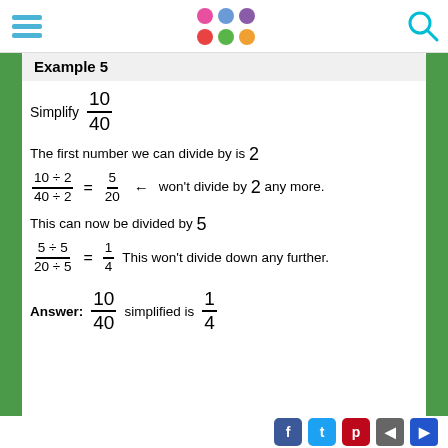Navigation header with hamburger menu, logo dots, and search icon
Example 5
The first number we can divide by is 2
This can now be divided by 5
Answer: 10/40 simplified is 1/4
Social share buttons and navigation arrows